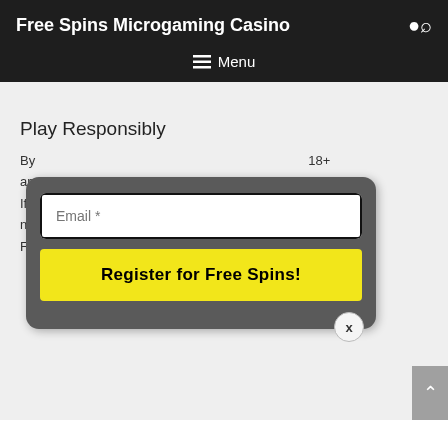Free Spins Microgaming Casino
Play Responsibly
By ... 18+ and ... l, If n... neg... rts Fa...
[Figure (screenshot): Email input field with placeholder 'Email *' and a yellow 'Register for Free Spins!' button inside a dark modal overlay with a close (x) button]